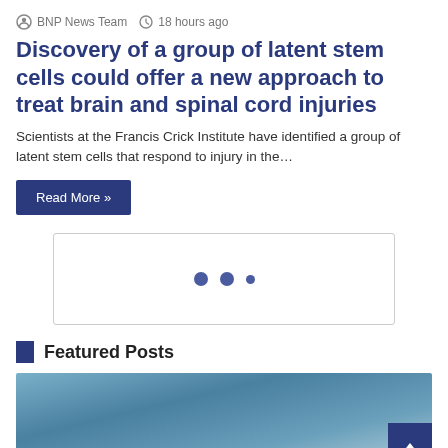BNP News Team  18 hours ago
Discovery of a group of latent stem cells could offer a new approach to treat brain and spinal cord injuries
Scientists at the Francis Crick Institute have identified a group of latent stem cells that respond to injury in the…
Read More »
[Figure (other): Loading indicator with three dots inside a bordered box]
Featured Posts
[Figure (photo): Blue sky with white clouds, partially visible image under Featured Posts section]